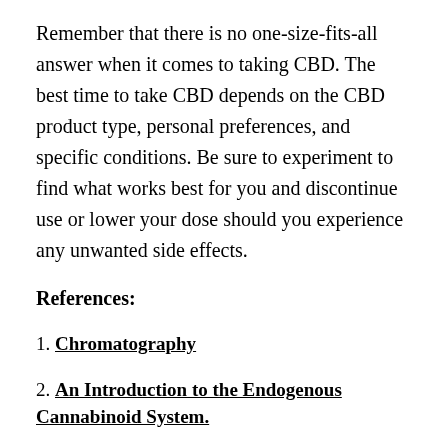Remember that there is no one-size-fits-all answer when it comes to taking CBD. The best time to take CBD depends on the CBD product type, personal preferences, and specific conditions. Be sure to experiment to find what works best for you and discontinue use or lower your dose should you experience any unwanted side effects.
References:
1. Chromatography
2. An Introduction to the Endogenous Cannabinoid System.